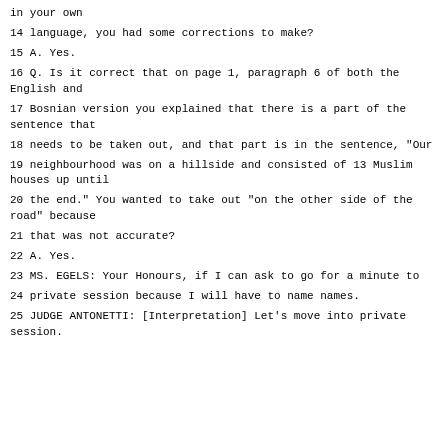in your own
14 language, you had some corrections to make?
15 A. Yes.
16 Q. Is it correct that on page 1, paragraph 6 of both the English and
17 Bosnian version you explained that there is a part of the sentence that
18 needs to be taken out, and that part is in the sentence, "Our
19 neighbourhood was on a hillside and consisted of 13 Muslim houses up until
20 the end." You wanted to take out "on the other side of the road" because
21 that was not accurate?
22 A. Yes.
23 MS. EGELS: Your Honours, if I can ask to go for a minute to
24 private session because I will have to name names.
25 JUDGE ANTONETTI: [Interpretation] Let's move into private session.